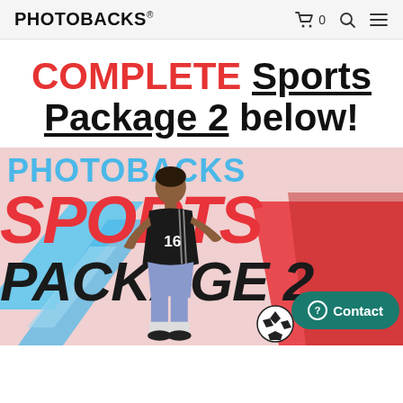PHOTOBACKS® 0
COMPLETE Sports Package 2 below!
[Figure (photo): Photobacks Sports Package 2 promotional banner showing a soccer player wearing jersey number 16, with large bold text reading 'PHOTOBACKS', 'SPORTS', 'PACKAGE 2' overlaid on a colorful background with blue and red geometric shapes and a soccer ball at the bottom. A teal 'Contact' button is visible at the bottom right.]